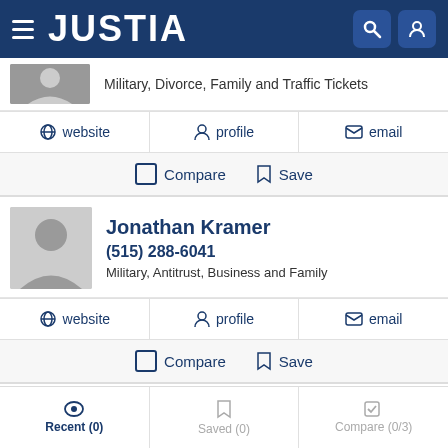JUSTIA
Military, Divorce, Family and Traffic Tickets
website  profile  email
Compare  Save
Jonathan Kramer
(515) 288-6041
Military, Antitrust, Business and Family
website  profile  email
Compare  Save
Recent (0)  Saved (0)  Compare (0/3)